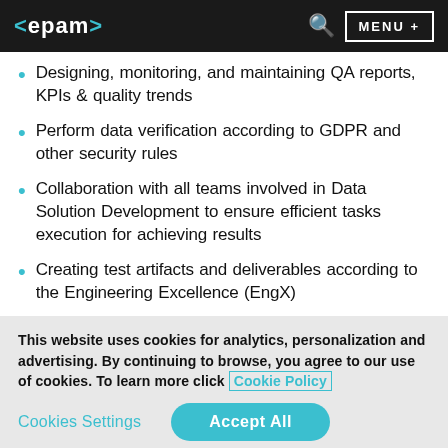<epam> MENU +
Designing, monitoring, and maintaining QA reports, KPIs & quality trends
Perform data verification according to GDPR and other security rules
Collaboration with all teams involved in Data Solution Development to ensure efficient tasks execution for achieving results
Creating test artifacts and deliverables according to the Engineering Excellence (EngX)
This website uses cookies for analytics, personalization and advertising. By continuing to browse, you agree to our use of cookies. To learn more click Cookie Policy
Cookies Settings  Accept All